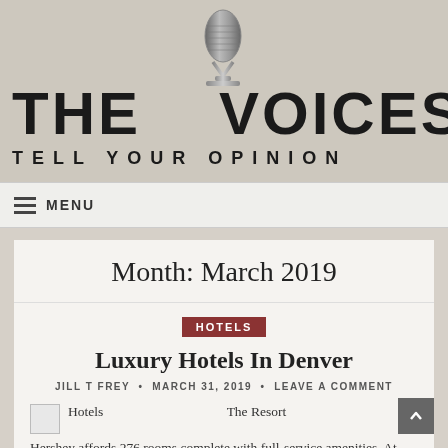[Figure (logo): The Voices blog logo with microphone icon and tagline 'Tell Your Opinion']
≡ MENU
Month: March 2019
HOTELS
Luxury Hotels In Denver
JILL T FREY • MARCH 31, 2019 • LEAVE A COMMENT
Hotels    The Resort
Hershey affords 276 rooms complete with full-service amenities. At Vacation Inn Specific® hotels we hold it easy